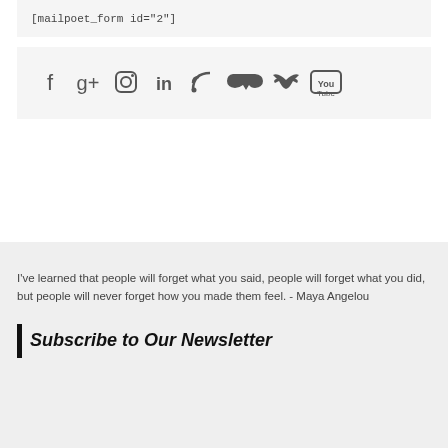[mailpoet_form id="2"]
[Figure (other): Social media icons row: Facebook, Google+, Instagram, LinkedIn, RSS, SoundCloud, Twitter, YouTube]
I've learned that people will forget what you said, people will forget what you did, but people will never forget how you made them feel. - Maya Angelou
Subscribe to Our Newsletter